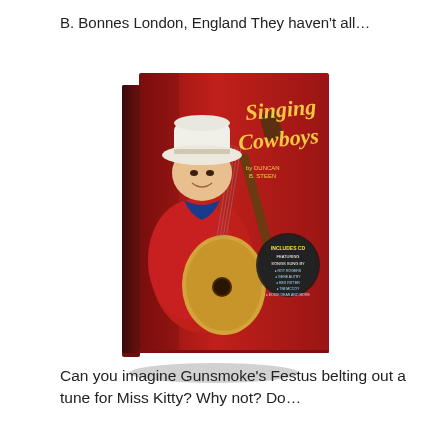B. Bonnes London, England They haven't all…
[Figure (photo): Book cover of 'Singing Cowboys' showing a smiling man in a cowboy hat and western shirt playing an acoustic guitar, on a red background with yellow cursive title text. The book includes a mention of an enclosed CD.]
Can you imagine Gunsmoke's Festus belting out a tune for Miss Kitty? Why not? Do…